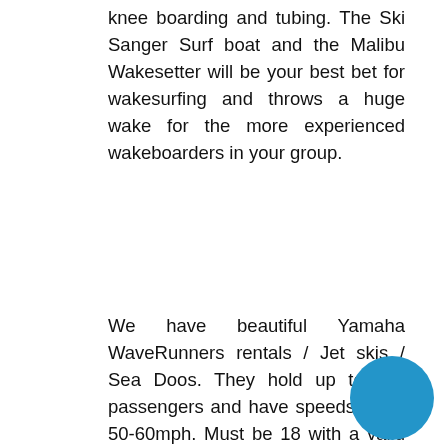knee boarding and tubing. The Ski Sanger Surf boat and the Malibu Wakesetter will be your best bet for wakesurfing and throws a huge wake for the more experienced wakeboarders in your group.
We have beautiful Yamaha WaveRunners rentals / Jet skis / Sea Doos. They hold up to two passengers and have speeds up to 50-60mph. Must be 18 with a valid driver's license to drive.
Get your family and friends together and spend the day aboard one of our roomy Pontoon Boats / Patio Boats / Party barges. These boats hold 10-13 passengers depending on the model and weight. These boats are great for pulling your family and friends on a tube or spending the day swimming and lounging in a [BOOK NOW] cove you can only get to by water.